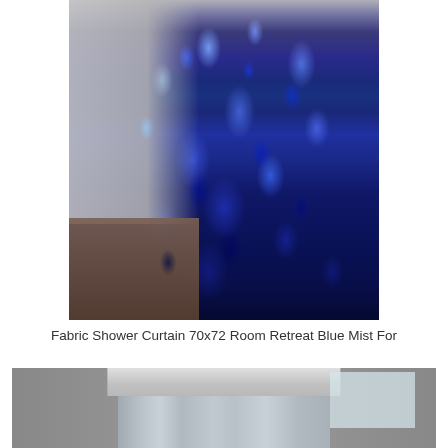[Figure (photo): Photo of a fabric shower curtain with blue mist pattern (dark navy and teal abstract design) hanging in a bathroom with white tile walls and wooden floor. Product: Fabric Shower Curtain 70x72 Room Retreat Blue Mist.]
Fabric Shower Curtain 70x72 Room Retreat Blue Mist For
[Figure (photo): Photo of a shower curtain rod (curved/oval rod) mounted to a ceiling bracket with a gray/silver fabric shower curtain hanging from it. Shows the rod hardware and ceiling mounting detail.]